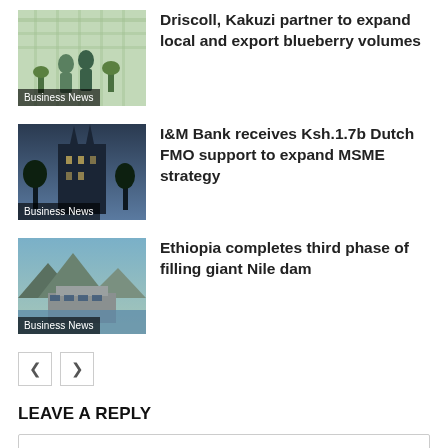[Figure (photo): Greenhouse with two people, labeled Business News]
Driscoll, Kakuzi partner to expand local and export blueberry volumes
[Figure (photo): Church or building silhouette at dusk, labeled Business News]
I&M Bank receives Ksh.1.7b Dutch FMO support to expand MSME strategy
[Figure (photo): Aerial view of dam construction, labeled Business News]
Ethiopia completes third phase of filling giant Nile dam
< >
LEAVE A REPLY
Comment: